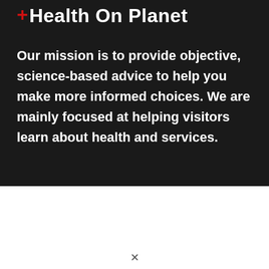+Health On Planet
Our mission is to provide objective, science-based advice to help you make more informed choices. We are mainly focused at helping visitors learn about health and services.